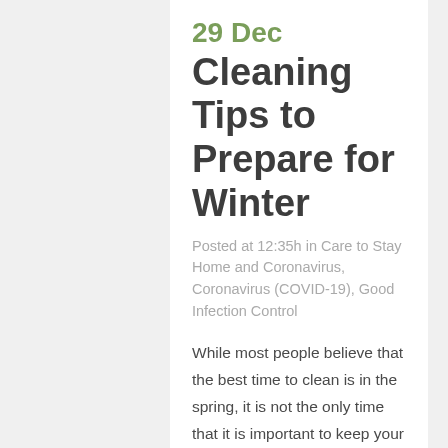29 Dec
Cleaning Tips to Prepare for Winter
Posted at 12:35h in Care to Stay Home and Coronavirus, Coronavirus (COVID-19), Good Infection Control
While most people believe that the best time to clean is in the spring, it is not the only time that it is important to keep your home